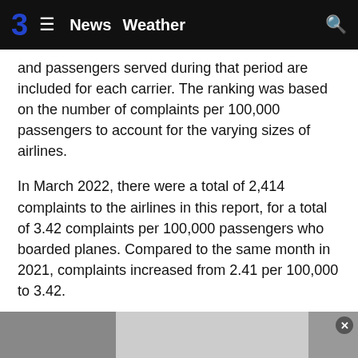3  ≡  News  Weather  🔍
and passengers served during that period are included for each carrier. The ranking was based on the number of complaints per 100,000 passengers to account for the varying sizes of airlines.
In March 2022, there were a total of 2,414 complaints to the airlines in this report, for a total of 3.42 complaints per 100,000 passengers who boarded planes. Compared to the same month in 2021, complaints increased from 2.41 per 100,000 to 3.42.
Experts have attributed the last year's tumultuous flying conditions to a shortage of pilots and other airline workers, worker absenteeism driven by the continued spread of COVID-19, and extreme weather conditions.